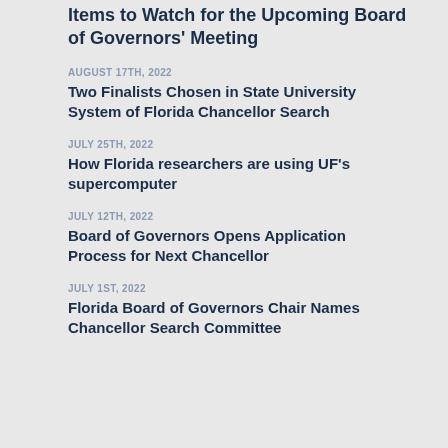Items to Watch for the Upcoming Board of Governors' Meeting
AUGUST 17TH, 2022
Two Finalists Chosen in State University System of Florida Chancellor Search
JULY 25TH, 2022
How Florida researchers are using UF's supercomputer
JULY 12TH, 2022
Board of Governors Opens Application Process for Next Chancellor
JULY 1ST, 2022
Florida Board of Governors Chair Names Chancellor Search Committee